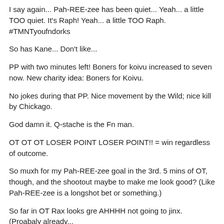I say again... Pah-REE-zee has been quiet... Yeah... a little TOO quiet. It's Raph! Yeah... a little TOO Raph. #TMNTyoufndorks
So has Kane... Don't like...
PP with two minutes left! Boners for koivu increased to seven now. New charity idea: Boners for Koivu.
No jokes during that PP. Nice movement by the Wild; nice kill by Chickago.
God damn it. Q-stache is the Fn man.
OT OT OT LOSER POINT LOSER POINT!! = win regardless of outcome.
So muxh for my Pah-REE-zee goal in the 3rd. 5 mins of OT, though, and the shootout maybe to make me look good? (Like Pah-REE-zee is a longshot bet or something.)
So far in OT Rax looks gre AHHHH not going to jinx. (Proabaly already...